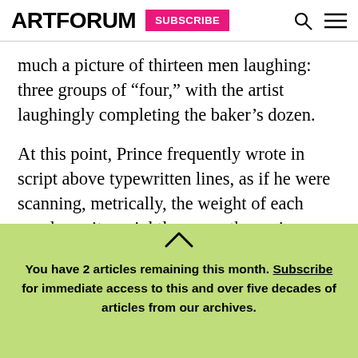ARTFORUM | SUBSCRIBE
much a picture of thirteen men laughing: three groups of “four,” with the artist laughingly completing the baker’s dozen.
At this point, Prince frequently wrote in script above typewritten lines, as if he were scanning, metrically, the weight of each word—or its weightlessness, the various resonances of its transcription and its “look,” typed or handwritten. In a typewritten text piece, he even seems to be figuring out the best
You have 2 articles remaining this month. Subscribe for immediate access to this and over five decades of articles from our archives.